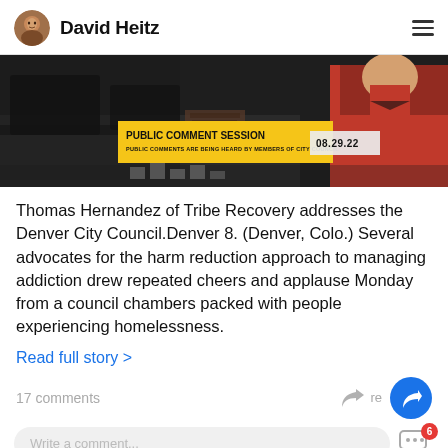David Heitz
[Figure (screenshot): Video screenshot showing a public comment session at Denver City Council on 08.29.22, with a yellow banner reading 'PUBLIC COMMENT SESSION - PUBLIC COMMENTS ARE BEING HEARD BY MEMBERS OF CITY COUNCIL' and a date box showing '08.29.22'. A person in a red shirt is visible on the right.]
Thomas Hernandez of Tribe Recovery addresses the Denver City Council.Denver 8. (Denver, Colo.) Several advocates for the harm reduction approach to managing addiction drew repeated cheers and applause Monday from a council chambers packed with people experiencing homelessness.
Read full story >
17 comments
Write a comment...